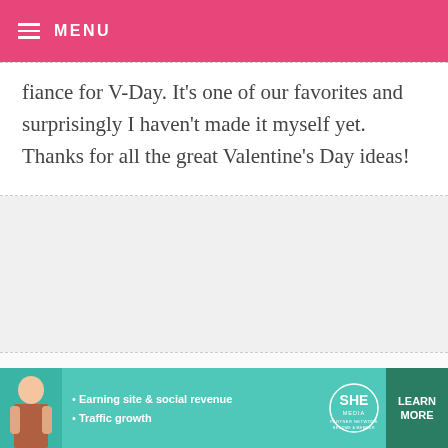MENU
fiance for V-Day. It's one of our favorites and surprisingly I haven't made it myself yet. Thanks for all the great Valentine's Day ideas!
ELOÏSE — FEBRUARY 11, 2011 @ 3:17 AM REPLY
Only two word: yum yum
HEATHER — FEBRUARY 10, 2011 @ 11:32 PM
[Figure (infographic): SHE Partner Network advertisement banner with woman photo, bullet points about earning site & social revenue and traffic growth, SHE logo, and LEARN MORE button]